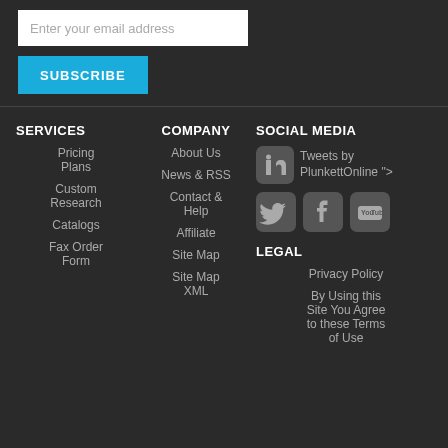Enter your email address
SUBSCRIBE
SERVICES
Pricing Plans
Custom Research
Catalogs
Fax Order Form
COMPANY
About Us
News & RSS
Contact & Help
Affiliate
Site Map
Site Map XML
SOCIAL MEDIA
Tweets by PlunkettOnline ">
LEGAL
Privacy Policy
By Using this Site You Agree to these Terms of Use